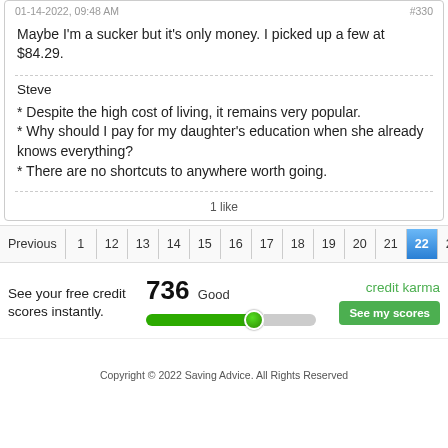01-14-2022, 09:48 AM   #330
Maybe I'm a sucker but it's only money. I picked up a few at $84.29.
Steve
* Despite the high cost of living, it remains very popular.
* Why should I pay for my daughter's education when she already knows everything?
* There are no shortcuts to anywhere worth going.
1 like
Previous  1  12  13  14  15  16  17  18  19  20  21  22  23  24  25  26  Next
See your free credit scores instantly.  736 Good  credit karma  See my scores